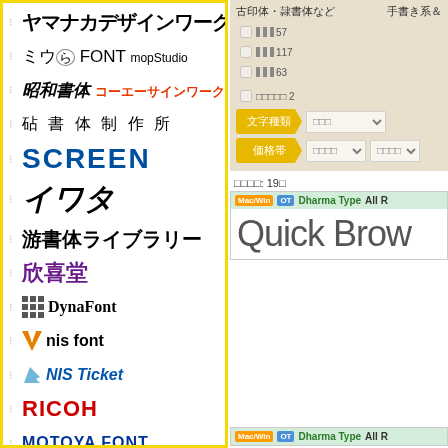ヤマナカデザインワークス
ミウらFONT mopstudio
昭和書体 コーエーサインワークス
砧書体制作所
SCREEN
イワタ
游書体ライブラリー
欣喜堂
DynaFont
nis font
NIS Ticket
RICOH
MOTOYA FONT
モトヤフォント lite
ARPHIC
古印体・隷書体など　手書き系＆
文字種類 □□□ ▼
価格帯 □□□□ ▼ □□□□
□□□□: 19□
Mac/Win OT  Dharma Type  All R
Quick Brow
Mac/Win OT  Dharma Type  All R